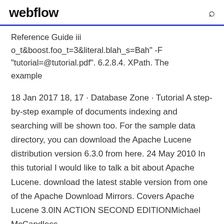webflow
Reference Guide iii
o_t&boost.foo_t=3&literal.blah_s=Bah" -F
"tutorial=@tutorial.pdf". 6.2.8.4. XPath. The example
18 Jan 2017 18, 17 · Database Zone · Tutorial A step-by-step example of documents indexing and searching will be shown too. For the sample data directory, you can download the Apache Lucene distribution version 6.3.0 from here. 24 May 2010 In this tutorial I would like to talk a bit about Apache Lucene. download the latest stable version from one of the Apache Download Mirrors. Covers Apache Lucene 3.0IN ACTION SECOND EDITIONMichael McCandless